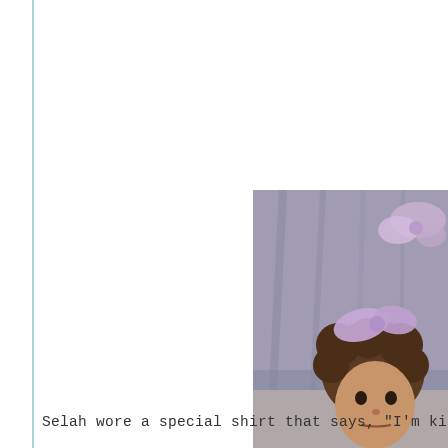[Figure (photo): A young girl with curly hair wearing a large purple/lavender bow on her head and a dark navy outfit, sitting on what appears to be a bed. The photo is cropped at the right edge of the page.]
Selah wore a special shirt that says, "I'm kind of a big d